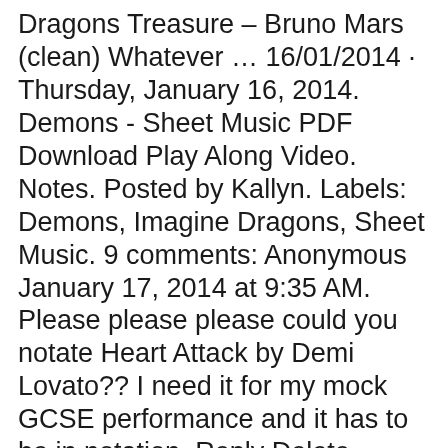Dragons Treasure – Bruno Mars (clean) Whatever … 16/01/2014 · Thursday, January 16, 2014. Demons - Sheet Music PDF Download Play Along Video. Notes. Posted by Kallyn. Labels: Demons, Imagine Dragons, Sheet Music. 9 comments: Anonymous January 17, 2014 at 9:35 AM. Please please please could you notate Heart Attack by Demi Lovato?? I need it for my mock GCSE performance and it has to be in notation. Reply Delete. Replies. Kallyn …
Imagine Dragons download free sheet music and scores. Download Imagine Dragons Sheet Music, Print and Download Imagine Dragons Sheet